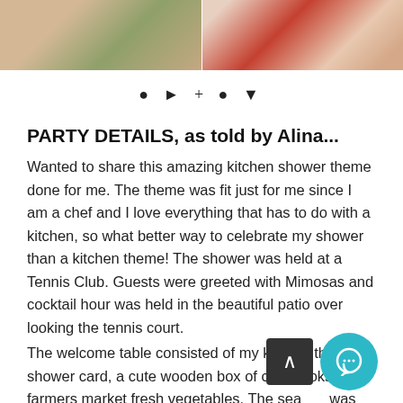[Figure (photo): Two food/party photos side by side at the top: left shows a cupcake or small cake with green garnish, right shows red tomatoes or peppers with a wooden cookbook box]
● ► + ● ▼
PARTY DETAILS, as told by Alina...
Wanted to share this amazing kitchen shower theme done for me. The theme was fit just for me since I am a chef and I love everything that has to do with a kitchen, so what better way to celebrate my shower than a kitchen theme! The shower was held at a Tennis Club. Guests were greeted with Mimosas and cocktail hour was held in the beautiful patio over looking the tennis court.
The welcome table consisted of my kitchen themed shower card, a cute wooden box of cookbooks and farmers market fresh vegetables. The seating was placed on a chalk board and the words "Welcome to Alina's Kitchen" drawn onto it. The centerpieces of